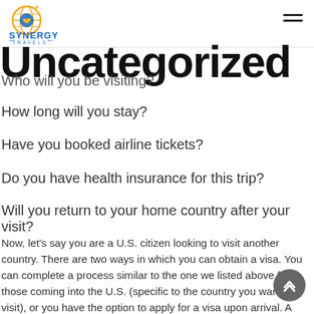Synergy Travels — Navigation header with logo and hamburger menu
Uncategorized
Who will you be visiting?
How long will you stay?
Have you booked airline tickets?
Do you have health insurance for this trip?
Will you return to your home country after your visit?
Now, let's say you are a U.S. citizen looking to visit another country. There are two ways in which you can obtain a visa. You can complete a process similar to the one we listed above for those coming into the U.S. (specific to the country you want to visit), or you have the option to apply for a visa upon arrival. A visa upon arrival is completing a visa application once you have arrived at the airport of your destination. Keep in mind, going this route could mean